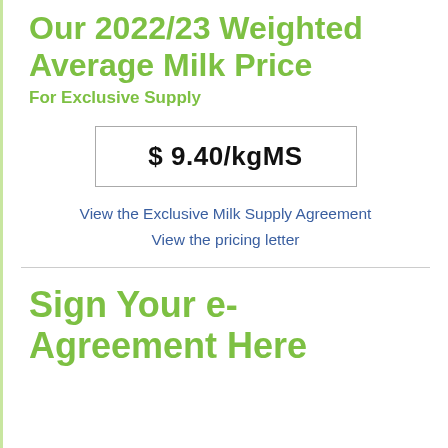Our 2022/23 Weighted Average Milk Price
For Exclusive Supply
$ 9.40/kgMS
View the Exclusive Milk Supply Agreement
View the pricing letter
Sign Your e-Agreement Here